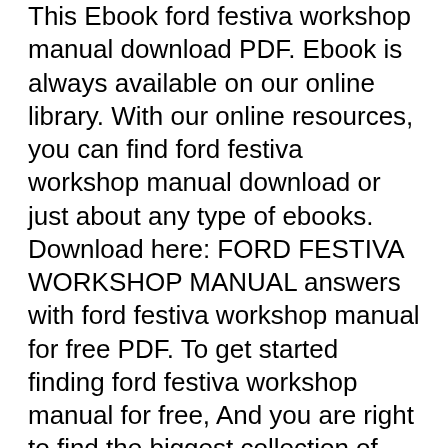This Ebook ford festiva workshop manual download PDF. Ebook is always available on our online library. With our online resources, you can find ford festiva workshop manual download or just about any type of ebooks. Download here: FORD FESTIVA WORKSHOP MANUAL answers with ford festiva workshop manual for free PDF. To get started finding ford festiva workshop manual for free, And you are right to find the biggest collection of listed. Download FORD FESTIVA WORKSHOP MANUAL FOR FREE PDF Read online: FORD FESTIVA WORKSHOP MANUAL FOR FREE PDF Reading is a hobby that can not be denied, because reading is